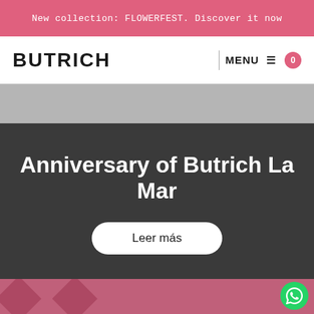New collection: FLOWERFEST. Discover it now
BUTRICH
MENU
Anniversary of Butrich La Mar
Leer más